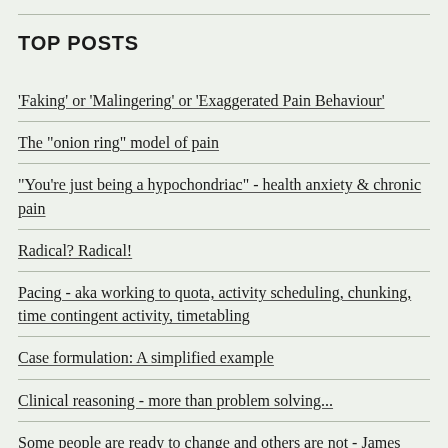TOP POSTS
'Faking' or 'Malingering' or 'Exaggerated Pain Behaviour'
The "onion ring" model of pain
"You're just being a hypochondriac" - health anxiety & chronic pain
Radical? Radical!
Pacing - aka working to quota, activity scheduling, chunking, time contingent activity, timetabling
Case formulation: A simplified example
Clinical reasoning - more than problem solving...
Some people are ready to change and others are not - James Gordon
Chronic pain as psychiatric disorder